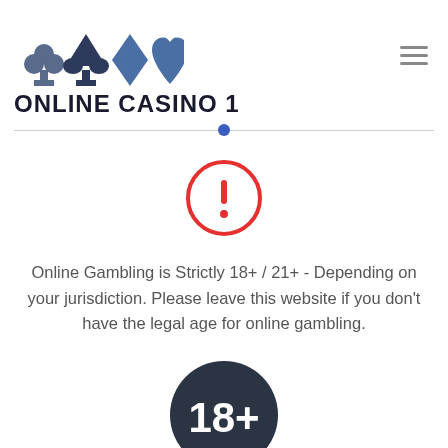[Figure (logo): Online Casino 1 logo with card suit icons (club, spades, diamond, heart) in blue/grey tones above the text 'ONLINE CASINO 1' in bold dark letters]
[Figure (illustration): Hamburger menu icon (three horizontal lines) in grey]
[Figure (illustration): Horizontal divider line with a small blue dot in the center]
[Figure (illustration): Red circle warning icon with exclamation mark]
Online Gambling is Strictly 18+ / 21+ - Depending on your jurisdiction. Please leave this website if you don't have the legal age for online gambling.
[Figure (illustration): Dark navy circle badge with bold white text '18+']